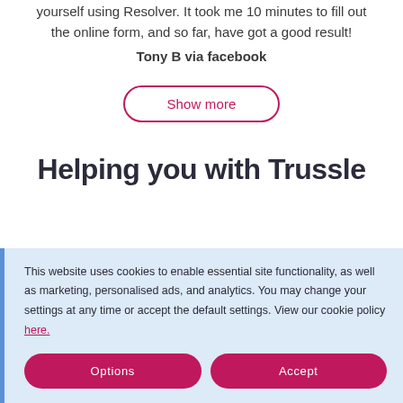yourself using Resolver. It took me 10 minutes to fill out the online form, and so far, have got a good result!
Tony B via facebook
[Figure (other): Show more button with rounded border in pink/magenta color]
Helping you with Trussle
This website uses cookies to enable essential site functionality, as well as marketing, personalised ads, and analytics. You may change your settings at any time or accept the default settings. View our cookie policy here.
[Figure (other): Two buttons: Options and Accept, both with magenta/pink background and rounded corners]